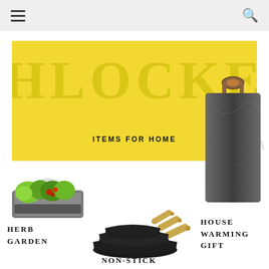Navigation bar with hamburger menu and search icon
[Figure (illustration): Yellow banner with decorative logo text and 'ITEMS FOR HOME' subtitle, overlapping slate board image]
ITEMS FOR HOME
[Figure (photo): Indoor herb garden planter with green herbs and red tomatoes in a white/grey rectangular container]
HERB GARDEN
[Figure (photo): Set of three black non-stick frying pans with gold handles, nested together]
NON-STICK
[Figure (photo): Dark slate/marble serving board with leather strap handle, rectangular shape]
HOUSE WARMING GIFT